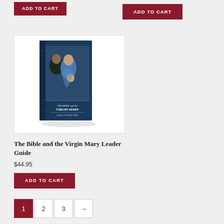[Figure (other): ADD TO CART button at top left]
[Figure (other): ADD TO CART button at top right]
[Figure (photo): Book cover image for 'The Bible and the Virgin Mary Leader Guide' showing a Renaissance-style painting of the Virgin Mary with child on a dark blue book cover]
The Bible and the Virgin Mary Leader Guide
$44.95
[Figure (other): ADD TO CART button below product]
[Figure (other): Pagination controls: 1 (active), 2, 3, next arrow]